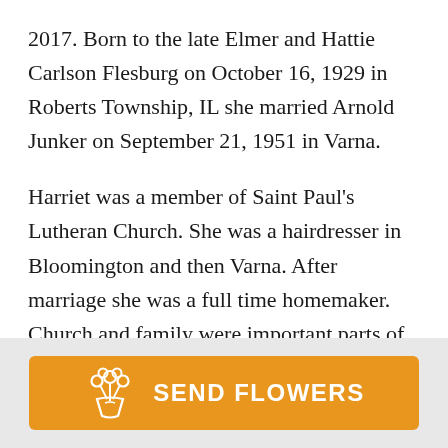2017. Born to the late Elmer and Hattie Carlson Flesburg on October 16, 1929 in Roberts Township, IL she married Arnold Junker on September 21, 1951 in Varna.
Harriet was a member of Saint Paul's Lutheran Church. She was a hairdresser in Bloomington and then Varna. After marriage she was a full time homemaker. Church and family were important parts of Harriet's life, especially enjoying her grandchildren and great-grandchildren. She enjoyed baking, most notably her
[Figure (other): Orange 'SEND FLOWERS' button with a floral bouquet icon in white]